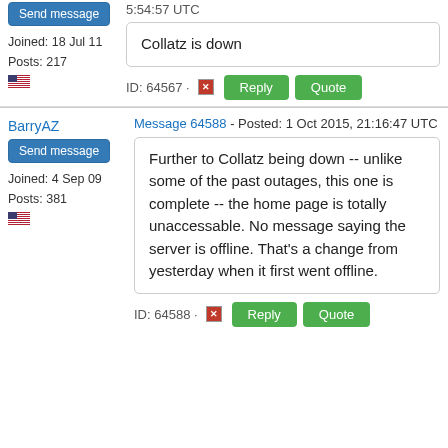5:54:57 UTC
Send message
Joined: 18 Jul 11
Posts: 217
Collatz is down
ID: 64567 · Reply Quote
BarryAZ
Message 64588 - Posted: 1 Oct 2015, 21:16:47 UTC
Send message
Joined: 4 Sep 09
Posts: 381
Further to Collatz being down -- unlike some of the past outages, this one is complete -- the home page is totally unaccessable. No message saying the server is offline. That's a change from yesterday when it first went offline.
ID: 64588 · Reply Quote